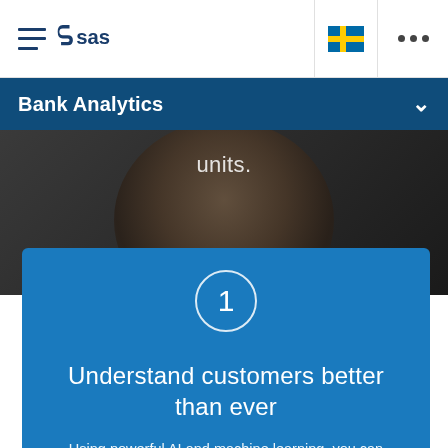SAS navigation bar with hamburger menu, SAS logo, Swedish flag, and more options
Bank Analytics
[Figure (photo): Dark background photo of a person's face partially visible, with text 'units.' overlaid in white]
Understand customers better than ever
Using powerful AI and machine learning, you can anticipate and address your customers' unspoken needs at just the right moment.